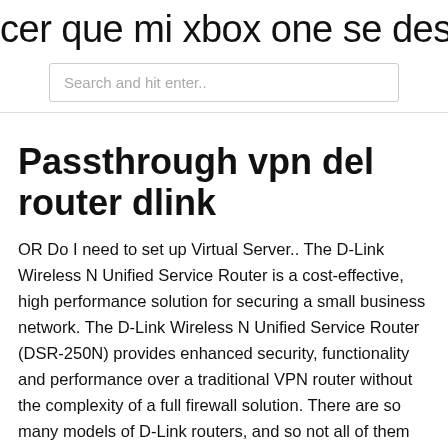cer que mi xbox one se descargue m
Search and hit enter..
Passthrough vpn del router dlink
OR Do I need to set up Virtual Server.. The D-Link Wireless N Unified Service Router is a cost-effective, high performance solution for securing a small business network. The D-Link Wireless N Unified Service Router (DSR-250N) provides enhanced security, functionality and performance over a traditional VPN router without the complexity of a full firewall solution. There are so many models of D-Link routers, and so not all of them can be entertained. However, this should give you a general idea of how the setup process will be, here is what you need to do: Things to Consider: Before you begin.